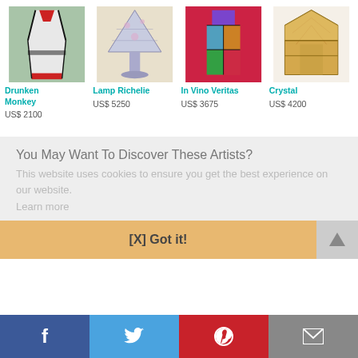[Figure (photo): Drunken Monkey art piece - tall slender vase/sculpture with red and black on green background]
Drunken Monkey
US$ 2100
[Figure (photo): Lamp Richelie - Tiffany-style lamp with blue/purple floral shade on beige background]
Lamp Richelie
US$ 5250
[Figure (photo): In Vino Veritas - colorful stained glass wine bottle shaped artwork]
In Vino Veritas
US$ 3675
[Figure (photo): Crystal - amber/brown stained glass wall sconce panel with geometric Art Deco pattern]
Crystal
US$ 4200
You May Want To Discover These Artists?
This website uses cookies to ensure you get the best experience on our website.
Learn more
[X] Got it!